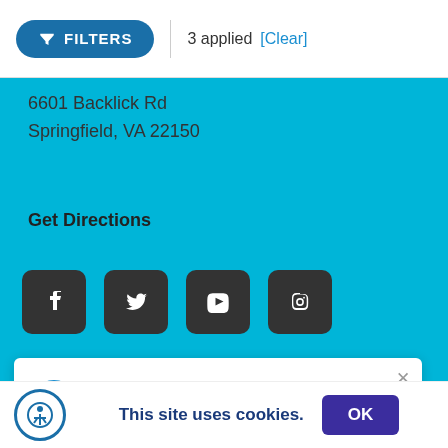FILTERS | 3 applied [Clear]
6601 Backlick Rd
Springfield, VA 22150
Get Directions
[Figure (screenshot): Four social media icons: Facebook, Twitter, YouTube, Instagram]
Links
Service
[Figure (infographic): Popup notification: Your Car Has NEVER Been Worth More! Sell or Trade Your Car Today. With chat bubble icon and close button.]
This site uses cookies. OK